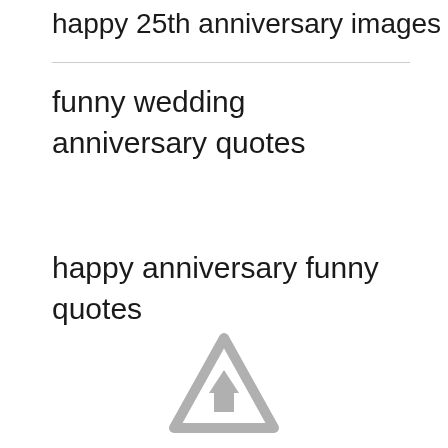happy 25th anniversary images
funny wedding anniversary quotes
happy anniversary funny quotes
[Figure (logo): A triangular warning/upload icon in light gray, partially visible at the bottom center of the page]